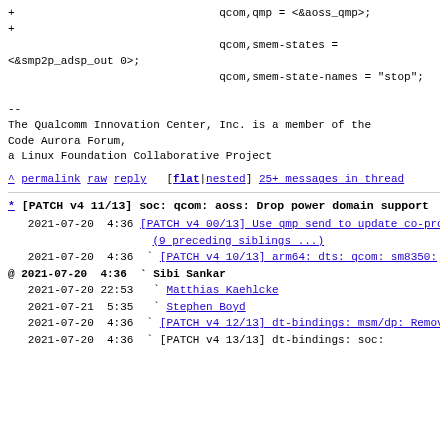+                               qcom,qmp = <&aoss_qmp>;
+
                                qcom,smem-states =
<&smp2p_adsp_out 0>;
                                qcom,smem-state-names = "stop";

--
The Qualcomm Innovation Center, Inc. is a member of the
Code Aurora Forum,
a Linux Foundation Collaborative Project
^ permalink raw reply   [flat|nested] 25+ messages in thread
* [PATCH v4 11/13] soc: qcom: aoss: Drop power domain support
   2021-07-20  4:36 [PATCH v4 00/13] Use qmp send to update co-processor load state Sibi Sankar
                   (9 preceding siblings ...)
   2021-07-20  4:36 ` [PATCH v4 10/13] arm64: dts: qcom: sm8350: " Sibi Sankar
@ 2021-07-20  4:36 ` Sibi Sankar
   2021-07-20 22:53   ` Matthias Kaehlcke
   2021-07-21  5:35   ` Stephen Boyd
   2021-07-20  4:36 ` [PATCH v4 12/13] dt-bindings: msm/dp: Remove aoss-qmp header Sibi Sankar
   2021-07-20  4:36 ` [PATCH v4 13/13] dt-bindings: soc: